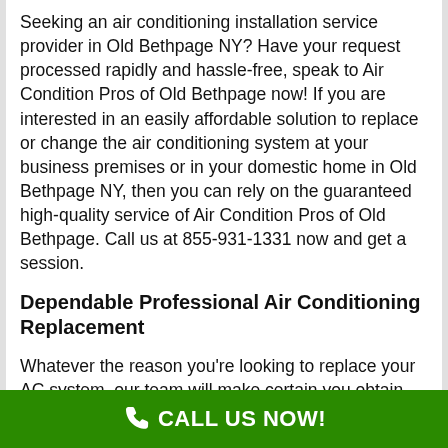Seeking an air conditioning installation service provider in Old Bethpage NY? Have your request processed rapidly and hassle-free, speak to Air Condition Pros of Old Bethpage now! If you are interested in an easily affordable solution to replace or change the air conditioning system at your business premises or in your domestic home in Old Bethpage NY, then you can rely on the guaranteed high-quality service of Air Condition Pros of Old Bethpage. Call us at 855-931-1331 now and get a session.
Dependable Professional Air Conditioning Replacement
Whatever the reason you're looking to replace your AC system, our team will make certain you obtain the correct system to suit your needs. Since 1980, our Air Condition Pros of Old Bethpage has been running in Old Bethpage NY. The number of yrs of
[Figure (other): Green call-to-action bar at bottom with phone icon and text CALL US NOW!]